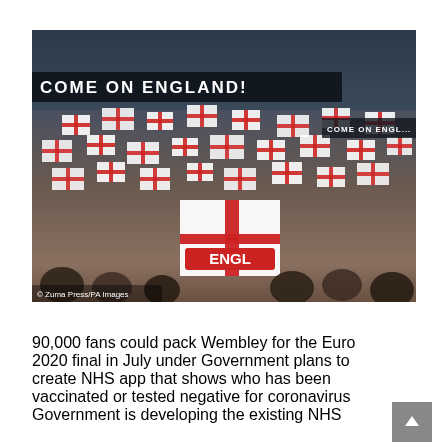[Figure (photo): England football fans at Wembley stadium waving England (St George's Cross) flags. A large LED scoreboard banner reads 'COME ON ENGLAND!' in white text on dark background. Fans are densely packed in stands. An 'ENGL' branded flag is visible in the foreground. Photo credit: Zuma Press/PA Images.]
90,000 fans could pack Wembley for the Euro 2020 final in July under Government plans to create NHS app that shows who has been vaccinated or tested negative for coronavirus Government is developing the existing NHS